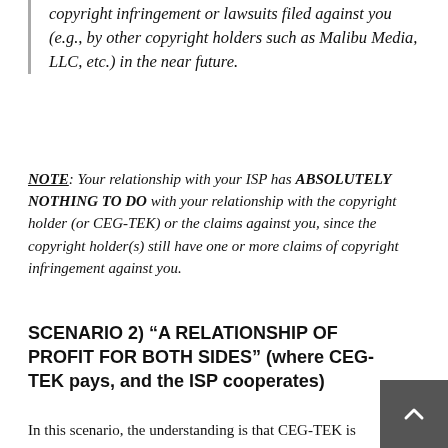copyright infringement or lawsuits filed against you (e.g., by other copyright holders such as Malibu Media, LLC, etc.) in the near future.
NOTE: Your relationship with your ISP has ABSOLUTELY NOTHING TO DO with your relationship with the copyright holder (or CEG-TEK) or the claims against you, since the copyright holder(s) still have one or more claims of copyright infringement against you.
SCENARIO 2) “A RELATIONSHIP OF PROFIT FOR BOTH SIDES” (where CEG-TEK pays, and the ISP cooperates)
In this scenario, the understanding is that CEG-TEK is